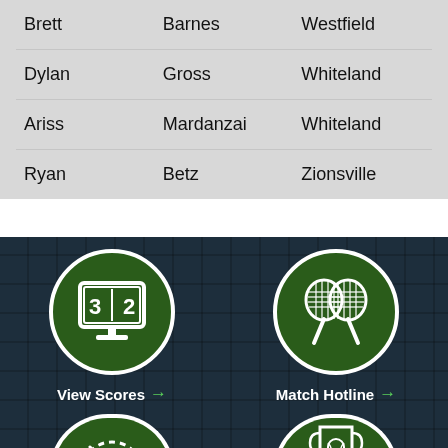| Brett | Barnes | Westfield |
| Dylan | Gross | Whiteland |
| Ariss | Mardanzai | Whiteland |
| Ryan | Betz | Zionsville |
[Figure (infographic): Dark tiled background section with four circular icon buttons: View Scores (scoreboard icon with 3|2), Match Hotline (crossed tennis rackets icon), and two partially visible icons at bottom (speedometer/gauge and trophy with tennis ball).]